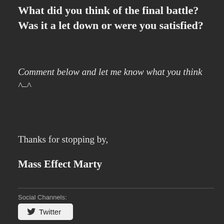What did you think of the final battle? Was it a let down or were you satisfied?
Comment below and let me know what you think ^–^
Thanks for stopping by,
Mass Effect Marty
Social Channels:
Twitter